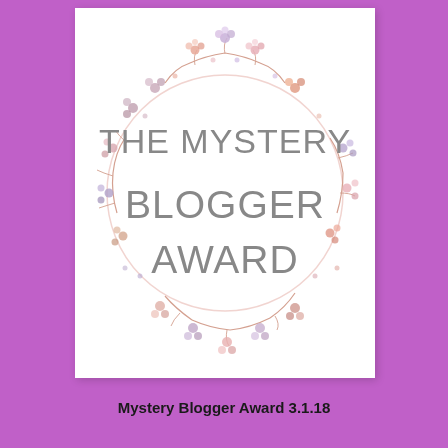[Figure (illustration): A white square card with a watercolor floral wreath made of pink, lavender, and coral small flowers on vine stems arranged in a circular wreath pattern. In the center of the wreath, large gray uppercase text reads 'THE MYSTERY BLOGGER AWARD'. The card is set against a bright purple/violet background.]
Mystery Blogger Award 3.1.18